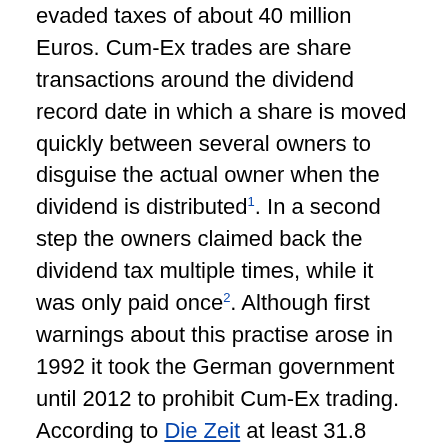evaded taxes of about 40 million Euros. Cum-Ex trades are share transactions around the dividend record date in which a share is moved quickly between several owners to disguise the actual owner when the dividend is distributed1. In a second step the owners claimed back the dividend tax multiple times, while it was only paid once2. Although first warnings about this practise arose in 1992 it took the German government until 2012 to prohibit Cum-Ex trading. According to Die Zeit at least 31.8 billion in taxes have been evaded in that timeframe. As a consequence of the Cum-Ex scandal Hypovereinsbank, HSH Nordbank and LBBW paid back 500 million Euros3. Furthermore, the small Maple Bank had to file for bankruptcy due to a reclaim of 100 million Euros4. Parts of the paybacks were paid under reserve, as it has not yet legally been decided whether historic Cum-Ex trades are considered illegal.